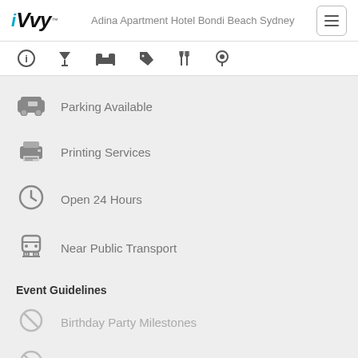iVvy™ — Adina Apartment Hotel Bondi Beach Sydney
[Figure (infographic): Navigation icon bar with info, cocktail, bed, tag, cutlery, and location pin icons]
Parking Available
Printing Services
Open 24 Hours
Near Public Transport
Event Guidelines
Birthday Party Milestones
Underaged Birthday Parties
Underage Events